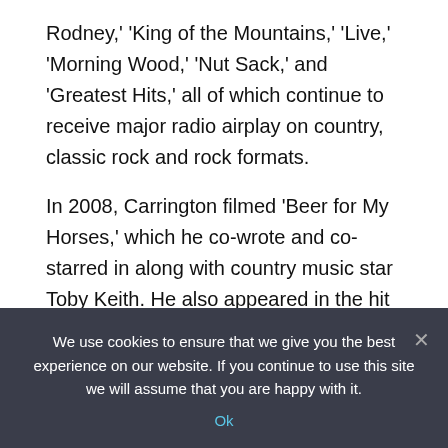Rodney,' 'King of the Mountains,' 'Live,' 'Morning Wood,' 'Nut Sack,' and 'Greatest Hits,' all of which continue to receive major radio airplay on country, classic rock and rock formats.
In 2008, Carrington filmed 'Beer for My Horses,' which he co-wrote and co-starred in along with country music star Toby Keith. He also appeared in the hit music video by Trace Adkins, 'I Got My Game On,' which won three awards on the 2008 CMT Music Video Awards, including 'Male Video of the Year' and 'Video Director of the Year' for Michael Salomon. Carrington won the category 'Supporting Character of the Year' for his role.
We use cookies to ensure that we give you the best experience on our website. If you continue to use this site we will assume that you are happy with it.
Ok